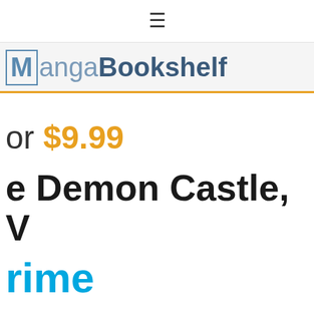≡
[Figure (logo): MangaBookshelf logo with stylized M in a box, text in blue/slate colors, orange underline]
or $9.99
e Demon Castle, V
rime